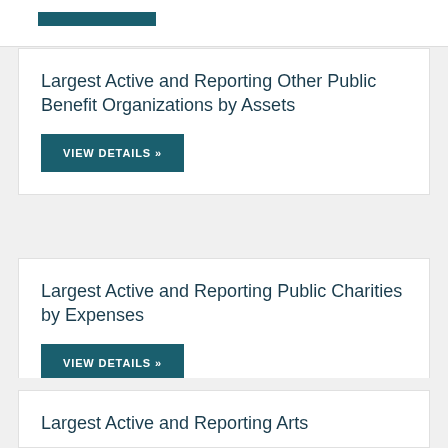[Figure (other): Teal/dark button bar partially visible at top of page]
Largest Active and Reporting Other Public Benefit Organizations by Assets
VIEW DETAILS »
Largest Active and Reporting Public Charities by Expenses
VIEW DETAILS »
Largest Active and Reporting Arts